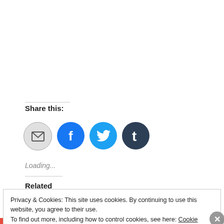Share this:
[Figure (illustration): Four social sharing buttons: email (grey circle), Facebook (blue circle), Twitter (light blue circle), Tumblr (dark navy circle)]
Loading...
Related
Privacy & Cookies: This site uses cookies. By continuing to use this website, you agree to their use. To find out more, including how to control cookies, see here: Cookie Policy
Close and accept